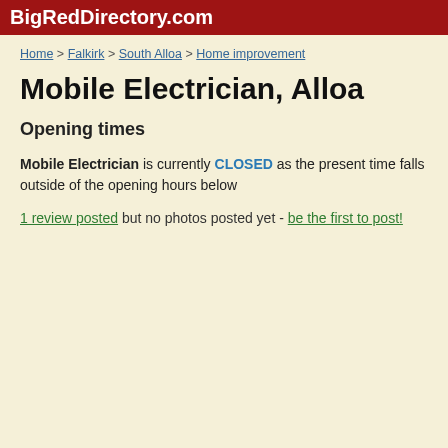BigRedDirectory.com
Home > Falkirk > South Alloa > Home improvement
Mobile Electrician, Alloa
Opening times
Mobile Electrician is currently CLOSED as the present time falls outside of the opening hours below
1 review posted but no photos posted yet - be the first to post!